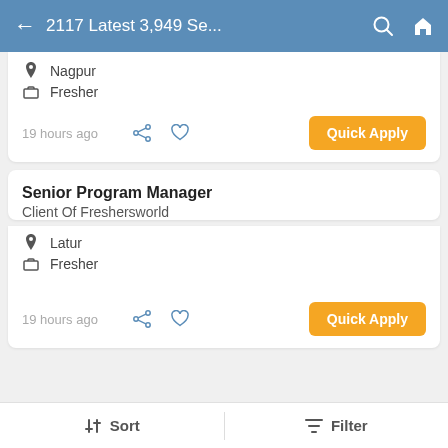2117 Latest 3,949 Se...
Nagpur
Fresher
19 hours ago
Quick Apply
Senior Program Manager
Client Of Freshersworld
Latur
Fresher
19 hours ago
Quick Apply
Sort  Filter